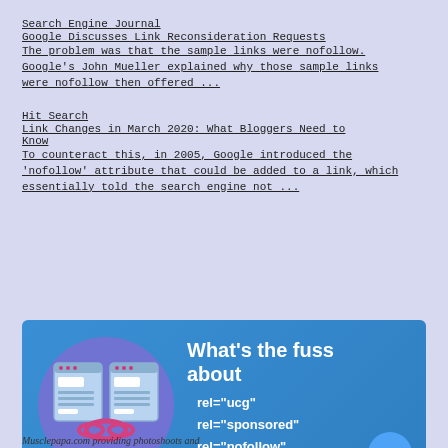Search Engine Journal
Google Discusses Link Reconsideration Requests
The problem was that the sample links were nofollow. Google's John Mueller explained why those sample links were nofollow then offered ...
Hit Search
Link Changes in March 2020: What Bloggers Need to Know
To counteract this, in 2005, Google introduced the 'nofollow' attribute that could be added to a link, which essentially told the search engine not ...
[Figure (infographic): Blue infographic banner showing two browser windows connected by a chain link icon inside a purple circle, with text: What's the fuss about rel="ucg" rel="sponsored" rel="nofollow"]
Musclepapa.com providing photoshoots and